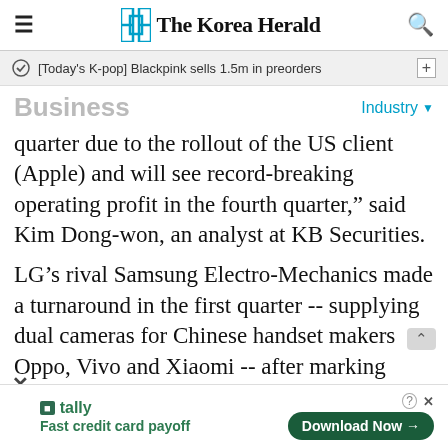The Korea Herald
[Today's K-pop] Blackpink sells 1.5m in preorders
Business
Industry
quarter due to the rollout of the US client (Apple) and will see record-breaking operating profit in the fourth quarter,” said Kim Dong-won, an analyst at KB Securities.
LG’s rival Samsung Electro-Mechanics made a turnaround in the first quarter -- supplying dual cameras for Chinese handset makers Oppo, Vivo and Xiaomi -- after marking losses
tally
Fast credit card payoff
Download Now →